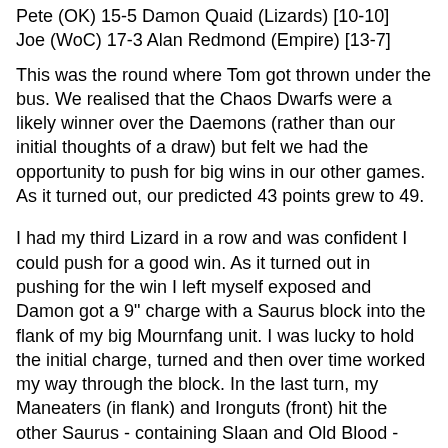Pete (OK) 15-5 Damon Quaid (Lizards) [10-10]
Joe (WoC) 17-3 Alan Redmond (Empire) [13-7]
This was the round where Tom got thrown under the bus. We realised that the Chaos Dwarfs were a likely winner over the Daemons (rather than our initial thoughts of a draw) but felt we had the opportunity to push for big wins in our other games. As it turned out, our predicted 43 points grew to 49.
I had my third Lizard in a row and was confident I could push for a good win. As it turned out in pushing for the win I left myself exposed and Damon got a 9" charge with a Saurus block into the flank of my big Mournfang unit. I was lucky to hold the initial charge, turned and then over time worked my way through the block. In the last turn, my Maneaters (in flank) and Ironguts (front) hit the other Saurus - containing Slaan and Old Blood - and I ended up getting those points.
This left us on 231 points going into the last round. This was the same as the Nerdymen and one behind the Grumpy Old Men. NZHammered had been beaten 51-29 by the Nerdymen and were now 10 points behind us.